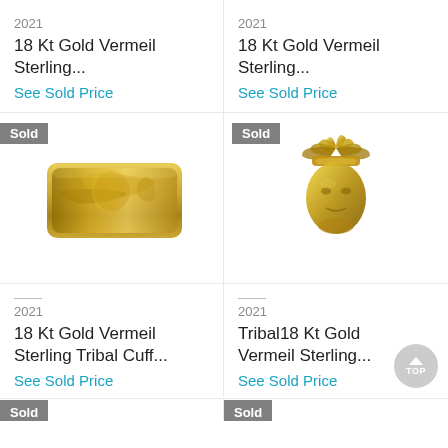2021
18 Kt Gold Vermeil Sterling...
See Sold Price
2021
18 Kt Gold Vermeil Sterling...
See Sold Price
[Figure (photo): Gold tribal cuff ring with floral/leaf design, shown with Sold badge]
[Figure (photo): Gold Native American chief head pendant/charm, shown with Sold badge]
2021
18 Kt Gold Vermeil Sterling Tribal Cuff...
See Sold Price
2021
Tribal18 Kt Gold Vermeil Sterling...
See Sold Price